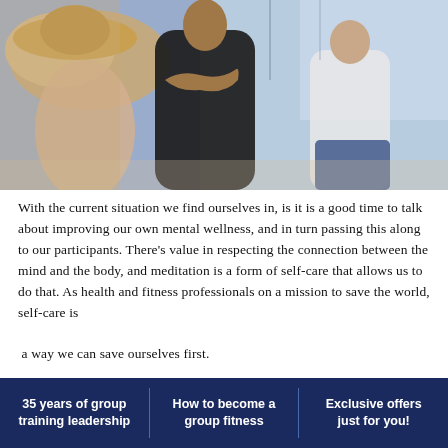[Figure (photo): Group of women doing yoga or fitness stretching exercises, one wearing a wide-brim hat in foreground, another in black sports top in center, another in white top in background, with blurred indoor setting]
With the current situation we find ourselves in, is it is a good time to talk about improving our own mental wellness, and in turn passing this along to our participants. There's value in respecting the connection between the mind and the body, and meditation is a form of self-care that allows us to do that. As health and fitness professionals on a mission to save the world, self-care is

a way we can save ourselves first.
35 years of group training leadership | How to become a group fitness | Exclusive offers just for you!